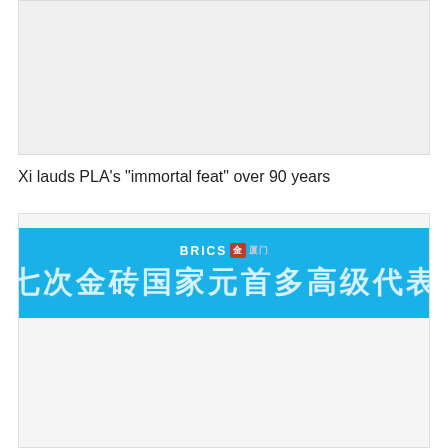[Figure (photo): Top image placeholder box with light gray background]
Xi lauds PLA's "immortal feat" over 90 years
[Figure (photo): BRICS banner with blue background showing BRICS logo and Chinese text: 第七次金砖国家元首多高级代表会]